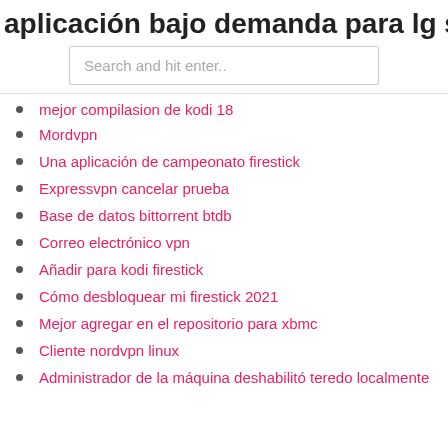aplicación bajo demanda para lg sm
Search and hit enter..
mejor compilasion de kodi 18
Mordvpn
Una aplicación de campeonato firestick
Expressvpn cancelar prueba
Base de datos bittorrent btdb
Correo electrónico vpn
Añadir para kodi firestick
Cómo desbloquear mi firestick 2021
Mejor agregar en el repositorio para xbmc
Cliente nordvpn linux
Administrador de la máquina deshabilitó teredo localmente